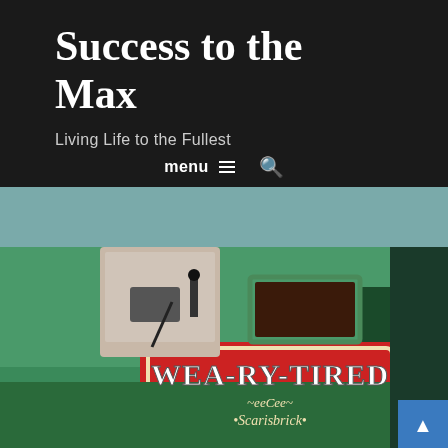Success to the Max
Living Life to the Fullest
menu ≡  🔍
[Figure (photo): Photo of a green narrowboat named 'WEA-RY-TIRED' with decorative script and '•Scarisbrick•' written below on a red panel. A person stands at the helm and an orange life ring is visible on the roof.]
f  Twitter  P  WhatsApp  share